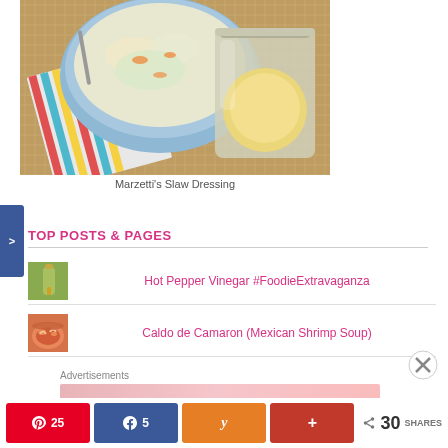[Figure (photo): Bowl of coleslaw with a jar of creamy dressing on a woven mat with striped cloth]
Marzetti's Slaw Dressing
TOP POSTS & PAGES
[Figure (photo): Thumbnail of hot pepper vinegar bottle]
Hot Pepper Vinegar #FoodieExtravaganza
[Figure (photo): Thumbnail of Mexican shrimp soup bowl]
Caldo de Camaron (Mexican Shrimp Soup)
Advertisements
25  5  30 SHARES